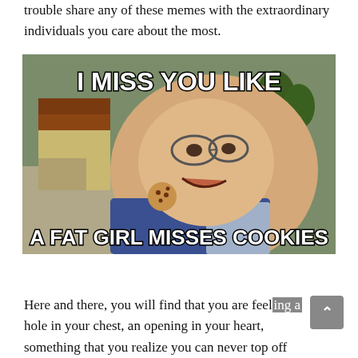trouble share any of these memes with the extraordinary individuals you care about the most.
[Figure (photo): Meme image of an overweight person with a cookie on their shoulder. Top text reads 'I MISS YOU LIKE', bottom text reads 'A FAT GIRL MISSES COOKIES'.]
Here and there, you will find that you are feeling a hole in your chest, an opening in your heart, something that you realize you can never top off